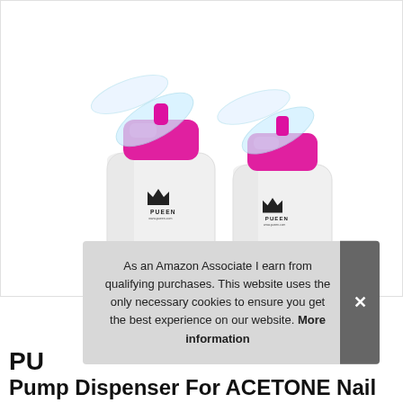[Figure (photo): Two white cylindrical pump dispenser bottles with hot pink/magenta pump tops and clear flip-open lids. Both bottles have a PUEEN crown logo on the front. The bottles are shown side by side on a white background.]
As an Amazon Associate I earn from qualifying purchases. This website uses the only necessary cookies to ensure you get the best experience on our website. More information
PU
Pump Dispenser For ACETONE Nail